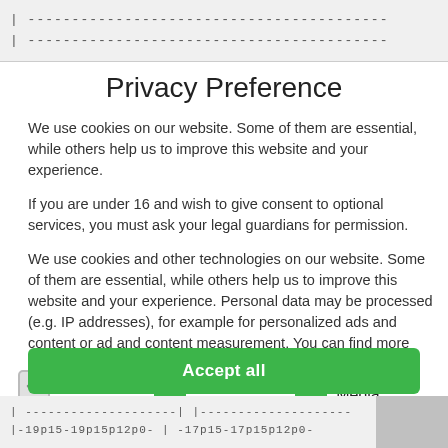| -----------------------------------------
| -----------------------------------------
Privacy Preference
We use cookies on our website. Some of them are essential, while others help us to improve this website and your experience.
If you are under 16 and wish to give consent to optional services, you must ask your legal guardians for permission.
We use cookies and other technologies on our website. Some of them are essential, while others help us to improve this website and your experience. Personal data may be processed (e.g. IP addresses), for example for personalized ads and content or ad and content measurement. You can find more information about the
Essential
Marketing
External Media
Accept all
| --------------------| |--------------------
|-19p15-19p15p12p0- | -17p15-17p15p12p0-